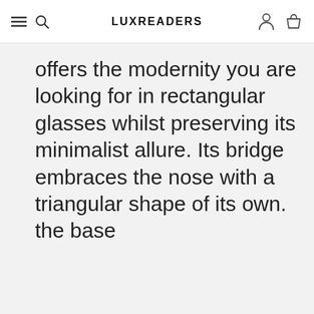LUXREADERS
offers the modernity you are looking for in rectangular glasses whilst preserving its minimalist allure. Its bridge embraces the nose with a triangular shape of its own. the base